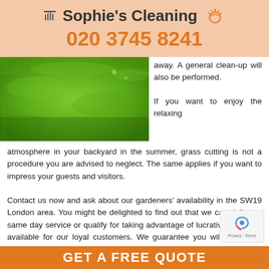Sophie's Cleaning
020 3745 8241
[Figure (photo): Close-up photograph of green grass lawn]
away. A general clean-up will also be performed.

If you want to enjoy the relaxing atmosphere in your backyard in the summer, grass cutting is not a procedure you are advised to neglect. The same applies if you want to impress your guests and visitors.

Contact us now and ask about our gardeners' availability in the SW19 London area. You might be delighted to find out that we can deliver a same day service or qualify for taking advantage of lucrative bonuses, available for our loyal customers. We guarantee you will not regret your choice of a garden maintenance provider.
GET A FREE QUOTE